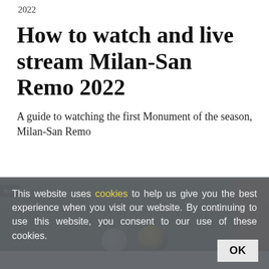2022
How to watch and live stream Milan-San Remo 2022
A guide to watching the first Monument of the season, Milan-San Remo
[Figure (photo): Cyclists wearing helmets at Milan-San Remo race, outdoor scene with buildings in background]
This website uses cookies to help us give you the best experience when you visit our website. By continuing to use this website, you consent to our use of these cookies.